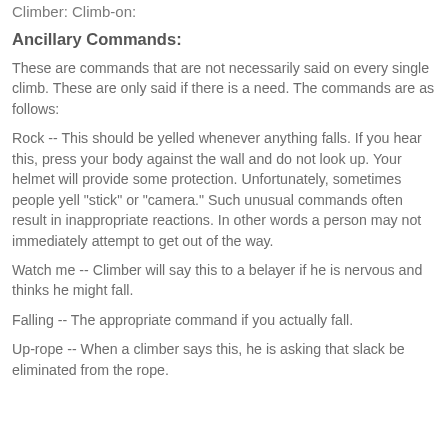Climber: Climb-on:
Ancillary Commands:
These are commands that are not necessarily said on every single climb. These are only said if there is a need. The commands are as follows:
Rock -- This should be yelled whenever anything falls. If you hear this, press your body against the wall and do not look up. Your helmet will provide some protection. Unfortunately, sometimes people yell "stick" or "camera." Such unusual commands often result in inappropriate reactions. In other words a person may not immediately attempt to get out of the way.
Watch me -- Climber will say this to a belayer if he is nervous and thinks he might fall.
Falling -- The appropriate command if you actually fall.
Up-rope -- When a climber says this, he is asking that slack be eliminated from the rope.